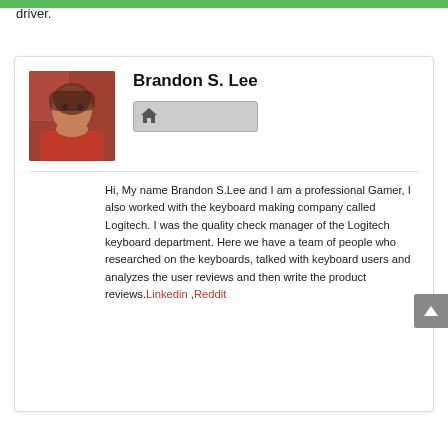driver.
Brandon S. Lee
Hi, My name Brandon S.Lee and I am a professional Gamer, I also worked with the keyboard making company called Logitech. I was the quality check manager of the Logitech keyboard department. Here we have a team of people who researched on the keyboards, talked with keyboard users and analyzes the user reviews and then write the product reviews. Linkedin ,Reddit